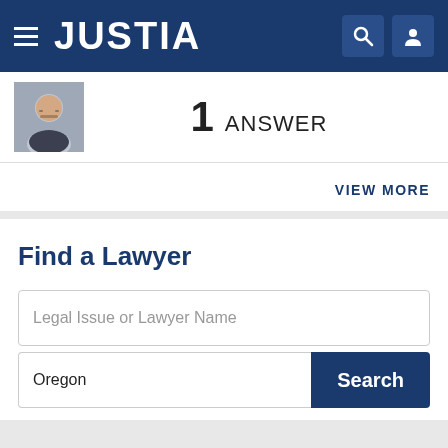JUSTIA
[Figure (photo): Headshot photo of a lawyer with gray hair and mustache]
1 ANSWER
VIEW MORE
Find a Lawyer
Legal Issue or Lawyer Name
Oregon
Search
Lawyers - Get Listed Now!
Get a free directory profile listing